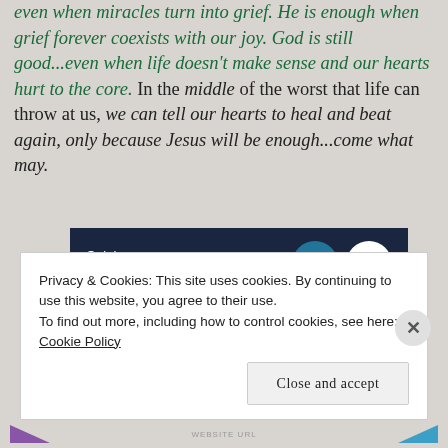even when miracles turn into grief. He is enough when grief forever coexists with our joy. God is still good...even when life doesn't make sense and our hearts hurt to the core. In the middle of the worst that life can throw at us, we can tell our hearts to heal and beat again, only because Jesus will be enough...come what may.
[Figure (screenshot): Dark navy advertisement banner reading 'Opinions. We all have them!' with WordPress and Fresh Words logos on the right]
Privacy & Cookies: This site uses cookies. By continuing to use this website, you agree to their use.
To find out more, including how to control cookies, see here: Cookie Policy
Close and accept